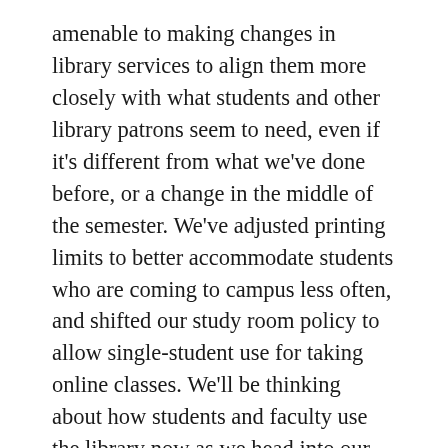amenable to making changes in library services to align them more closely with what students and other library patrons seem to need, even if it's different from what we've done before, or a change in the middle of the semester. We've adjusted printing limits to better accommodate students who are coming to campus less often, and shifted our study room policy to allow single-student use for taking online classes. We'll be thinking about how students and faculty use the library now as we head into our strategic planning process, too, and will hopefully hold some focus groups in the Fall to help us learn more.
(Angie) At both our Library and University